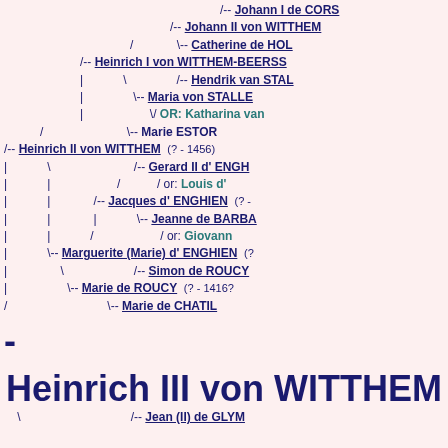[Figure (other): Genealogical tree diagram showing ancestors of Heinrich III von WITTHEM. Includes names: Johann I de CORS, Johann II von WITTHEM, Catherine de HOL, Heinrich I von WITTHEM-BEERSS, Hendrik van STAL, Maria von STALLE, OR: Katharina van, Marie ESTOR, Heinrich II von WITTHEM (?-1456), Gerard II d' ENGH, Louis d', Jacques d' ENGHIEN (?-), Jeanne de BARBA, Giovanni, Marguerite (Marie) d' ENGHIEN (?), Simon de ROUCY, Marie de ROUCY (?-1416?), Marie de CHATIL, Heinrich III von WITTHEM (root node), Jean (II) de GLYM.]